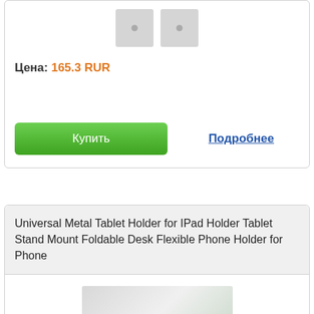[Figure (photo): Two placeholder product images (grey squares with circle icons)]
Цена: 165.3 RUR
Купить
Подробнее
Universal Metal Tablet Holder for IPad Holder Tablet Stand Mount Foldable Desk Flexible Phone Holder for Phone
[Figure (photo): Product photo showing a tablet stand on a desk]